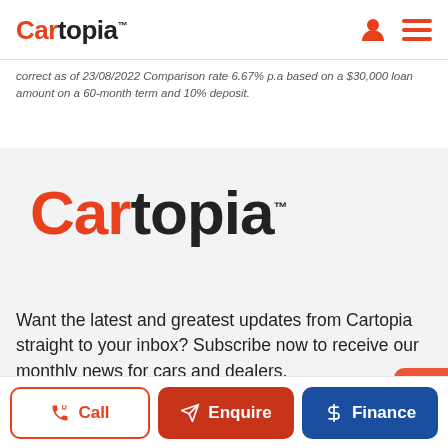Cartopia
correct as of 23/08/2022 Comparison rate 6.67% p.a based on a $30,000 loan amount on a 60-month term and 10% deposit.
[Figure (logo): Cartopia logo in large format on gray background]
Want the latest and greatest updates from Cartopia straight to your inbox? Subscribe now to receive our monthly news for cars and dealers.
Call | Enquire | Finance